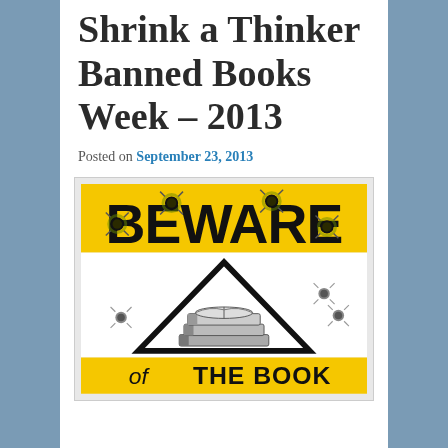Shrink a Thinker Banned Books Week – 2013
Posted on September 23, 2013
[Figure (illustration): A warning sign illustration reading BEWARE of THE BOOK, with a stack of books inside a triangle, surrounded by bullet hole graphics on a yellow and white background.]